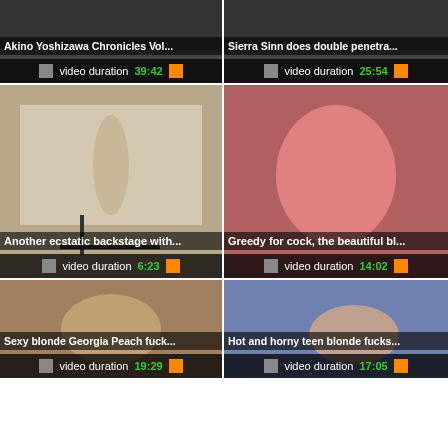[Figure (screenshot): Video thumbnail grid with 6 adult video thumbnails arranged in 2 columns and 3 rows, each showing title and video duration]
Akino Yoshizawa Chronicles Vol... | video duration 39:42
Sierra Sinn does double penetra... | video duration 25:54
Another ecstatic backstage with... | video duration 6:23
Greedy for cock, the beautiful bl... | video duration 14:02
Sexy blonde Georgia Peach fuck... | video duration 19:29
Hot and horny teen blonde fucks... | video duration 17:05